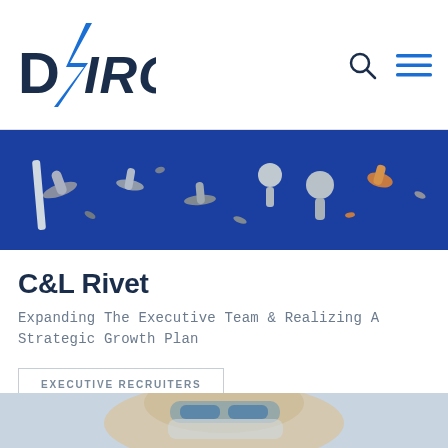[Figure (logo): DVIRC logo with blue lightning bolt shape in the letter V]
[Figure (photo): Close-up photo of various metal rivets and fasteners on a blue background]
C&L Rivet
Expanding The Executive Team & Realizing A Strategic Growth Plan
EXECUTIVE RECRUITERS
[Figure (photo): Person wearing safety goggles and face mask, laboratory or manufacturing setting]